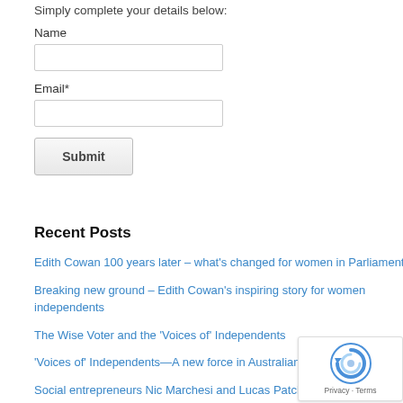Simply complete your details below:
Name
Email*
Submit
Recent Posts
Edith Cowan 100 years later – what's changed for women in Parliament?
Breaking new ground – Edith Cowan's inspiring story for women independents
The Wise Voter and the 'Voices of' Independents
'Voices of' Independents—A new force in Australian Politics
Social entrepreneurs Nic Marchesi and Lucas Patchett show the way